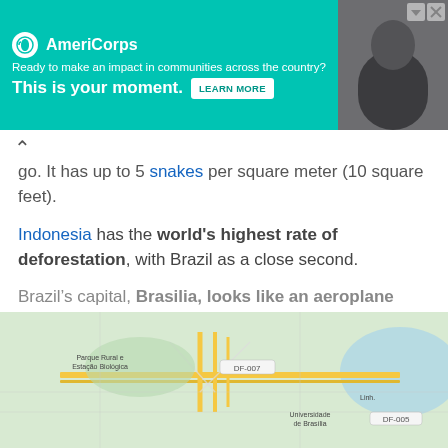[Figure (other): AmeriCorps advertisement banner with teal background, logo, tagline 'Ready to make an impact in communities across the country?', bold text 'This is your moment.', LEARN MORE button, and photo of a person]
go. It has up to 5 snakes per square meter (10 square feet).
Indonesia has the world's highest rate of deforestation, with Brazil as a close second.
Brazil’s capital, Brasilia, looks like an aeroplane from above.
[Figure (map): Google Maps view of Brasilia, Brazil showing the aeroplane-shaped city layout with roads DF-007 and DF-005 labeled, Parque Rural Estação Biológica, Universidade de Brasília visible]